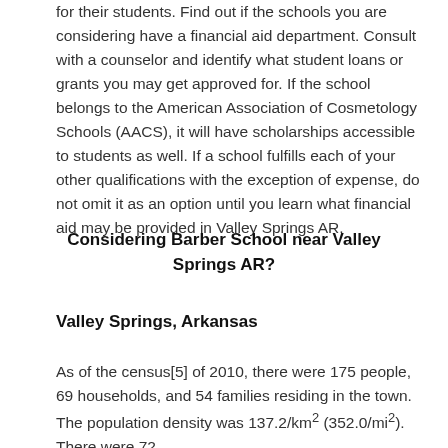for their students. Find out if the schools you are considering have a financial aid department. Consult with a counselor and identify what student loans or grants you may get approved for. If the school belongs to the American Association of Cosmetology Schools (AACS), it will have scholarships accessible to students as well. If a school fulfills each of your other qualifications with the exception of expense, do not omit it as an option until you learn what financial aid may be provided in Valley Springs AR.
Considering Barber School near Valley Springs AR?
Valley Springs, Arkansas
As of the census[5] of 2010, there were 175 people, 69 households, and 54 families residing in the town. The population density was 137.2/km² (352.0/mi²). There were 72